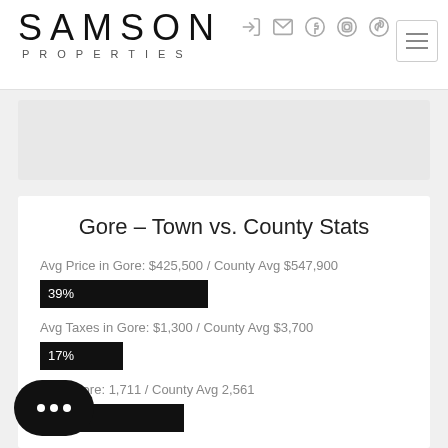[Figure (logo): Samson Properties logo with large SAMSON text and PROPERTIES in smaller spaced letters below]
[Figure (screenshot): Navigation icons: login arrow, mail envelope, Facebook circle, Instagram circle, Pinterest circle, and hamburger menu button]
[Figure (other): Gray banner/image placeholder box]
Gore – Town vs. County Stats
Avg Price in Gore: $425,500 / County Avg $547,900
[Figure (bar-chart): Avg Price bar]
Avg Taxes in Gore: $1,300 / County Avg $3,700
[Figure (bar-chart): Avg Taxes bar]
Ft. in Gore: 1,711 / County Avg 2,561
[Figure (bar-chart): Sq Ft bar]